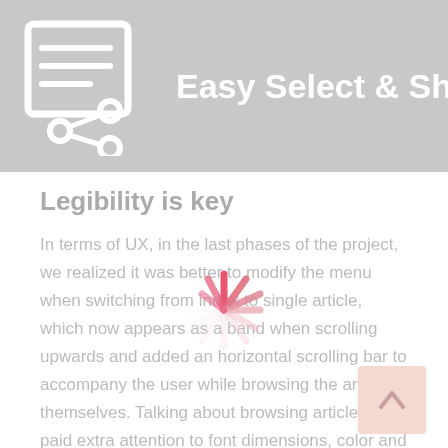Easy Select & Share PRO
Legibility is key
In terms of UX, in the last phases of the project, we realized it was better to modify the menu when switching from index to single article, which now appears as a band when scrolling upwards and added an horizontal scrolling bar to accompany the user while browsing the articles themselves. Talking about browsing articles, we paid extra attention to font dimensions, color and background in order to achieve the better degree of legibility possible.
[Figure (other): Loading spinner animation overlay in pink/red tones centered over the text content]
[Figure (other): Back-to-top button (chevron/caret up arrow) in bottom right corner with peach/salmon background]